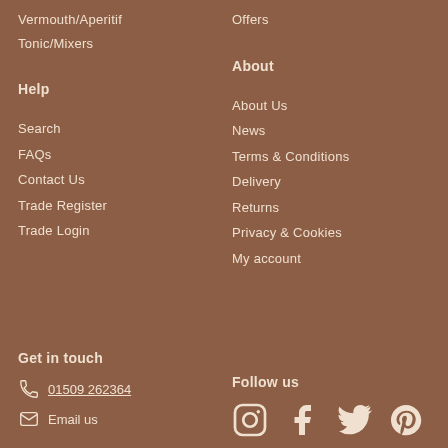Vermouth/Aperitif
Tonic/Mixers
Offers
Help
About
Search
About Us
FAQs
News
Contact Us
Terms & Conditions
Trade Register
Delivery
Trade Login
Returns
Privacy & Cookies
My account
Get in touch
Follow us
01509 262364
Email us